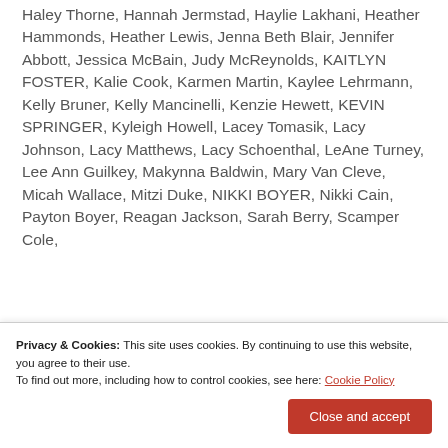Haley Thorne, Hannah Jermstad, Haylie Lakhani, Heather Hammonds, Heather Lewis, Jenna Beth Blair, Jennifer Abbott, Jessica McBain, Judy McReynolds, KAITLYN FOSTER, Kalie Cook, Karmen Martin, Kaylee Lehrmann, Kelly Bruner, Kelly Mancinelli, Kenzie Hewett, KEVIN SPRINGER, Kyleigh Howell, Lacey Tomasik, Lacy Johnson, Lacy Matthews, Lacy Schoenthal, LeAne Turney, Lee Ann Guilkey, Makynna Baldwin, Mary Van Cleve, Micah Wallace, Mitzi Duke, NIKKI BOYER, Nikki Cain, Payton Boyer, Reagan Jackson, Sarah Berry, Scamper Cole,
Privacy & Cookies: This site uses cookies. By continuing to use this website, you agree to their use. To find out more, including how to control cookies, see here: Cookie Policy